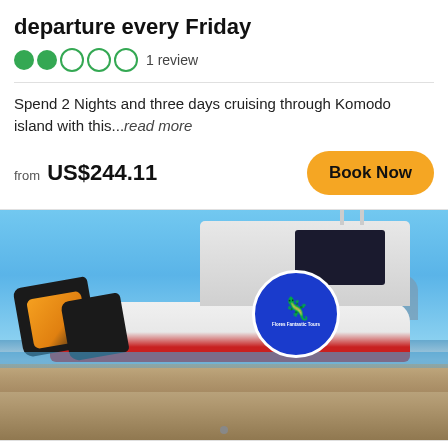departure every Friday
1 review
Spend 2 Nights and three days cruising through Komodo island with this...read more
from US$244.11
Book Now
[Figure (photo): A fast boat on a beach shore with blue sky, large outboard engines visible on left, white cabin with dark window, boat has red and white hull, company logo circle on the side reading Flores Fantastic Tours]
1Day Komodo Trip by Fast Boat Private.
21 reviews